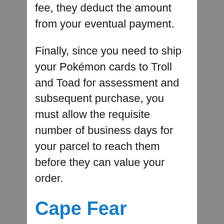fee, they deduct the amount from your eventual payment.
Finally, since you need to ship your Pokémon cards to Troll and Toad for assessment and subsequent purchase, you must allow the requisite number of business days for your parcel to reach them before they can value your order.
Cape Fear Games
Another way to tackle the problem of how to buy and sell Pokemon cards online is through Cape Fear Games.